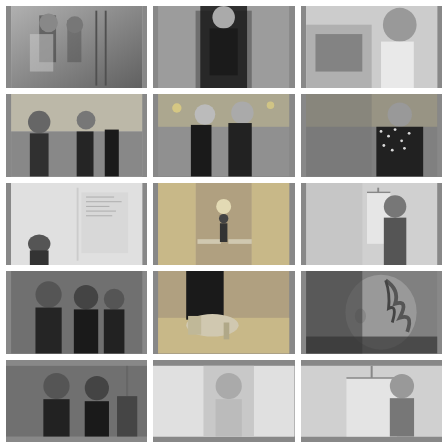[Figure (photo): Black and white backstage fashion photo: people standing, fitting clothes on models in a showroom]
[Figure (photo): Black and white backstage fashion photo: model in dark fitted outfit being assisted]
[Figure (photo): Black and white backstage fashion photo: person in white sweater reaching up near a model]
[Figure (photo): Black and white backstage fashion photo: group of people in elegant room, fitting session]
[Figure (photo): Black and white backstage fashion photo: two models in dark outfits in ornate room with chandelier]
[Figure (photo): Black and white backstage fashion photo: model in sparkling/sequined outfit being adjusted from behind]
[Figure (photo): Black and white photo: minimal room with sketches/notes on wall, person sitting]
[Figure (photo): Black and white photo: hallway corridor with benches, model walking away]
[Figure (photo): Black and white backstage fashion photo: person adjusting a light-colored dress on a hanger]
[Figure (photo): Black and white backstage fashion photo: group of people clustered together backstage]
[Figure (photo): Black and white close-up photo: heeled shoe/boot on wooden floor]
[Figure (photo): Black and white close-up photo: model's profile showing braided updo hairstyle]
[Figure (photo): Black and white backstage fashion photo: partial view of people and garments]
[Figure (photo): Black and white backstage fashion photo: model or person in light interior space]
[Figure (photo): Black and white backstage fashion photo: clothing on hangers, partial figure visible]